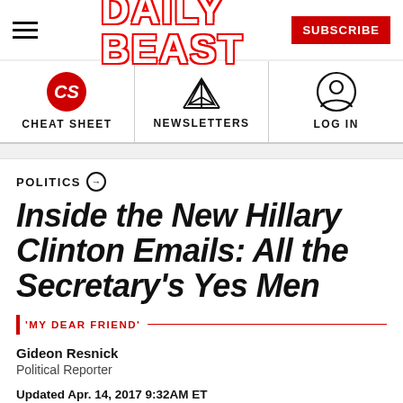DAILY BEAST
[Figure (logo): Navigation bar with Cheat Sheet (CS red circle logo), Newsletters (paper airplane icon), and Log In (person icon) sections]
POLITICS
Inside the New Hillary Clinton Emails: All the Secretary's Yes Men
'MY DEAR FRIEND'
Gideon Resnick
Political Reporter
Updated Apr. 14, 2017 9:32AM ET
Published Sep. 01, 2015 1:59AM ET